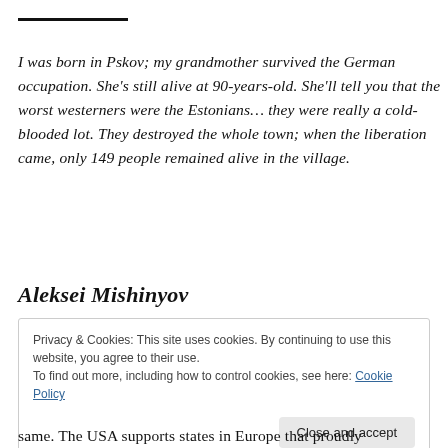I was born in Pskov; my grandmother survived the German occupation. She’s still alive at 90-years-old. She’ll tell you that the worst westerners were the Estonians… they were really a cold-blooded lot. They destroyed the whole town; when the liberation came, only 149 people remained alive in the village.
Aleksei Mishinyov
Privacy & Cookies: This site uses cookies. By continuing to use this website, you agree to their use.
To find out more, including how to control cookies, see here: Cookie Policy
same. The USA supports states in Europe that proudly